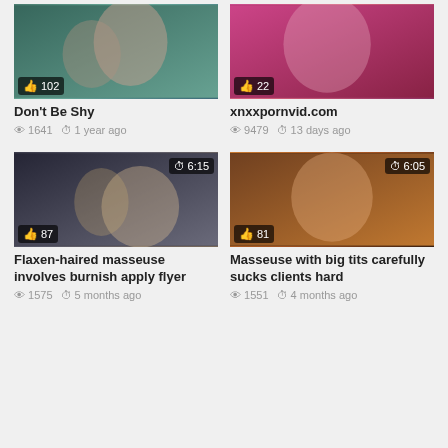[Figure (photo): Video thumbnail: Don't Be Shy, likes 102]
Don't Be Shy
👁 1641   🕐 1 year ago
[Figure (photo): Video thumbnail: xnxxpornvid.com, likes 22]
xnxxpornvid.com
👁 9479   🕐 13 days ago
[Figure (photo): Video thumbnail: Flaxen-haired masseuse involves burnish apply flyer, duration 6:15, likes 87]
Flaxen-haired masseuse involves burnish apply flyer
👁 1575   🕐 5 months ago
[Figure (photo): Video thumbnail: Masseuse with big tits carefully sucks clients hard, duration 6:05, likes 81]
Masseuse with big tits carefully sucks clients hard
👁 1551   🕐 4 months ago